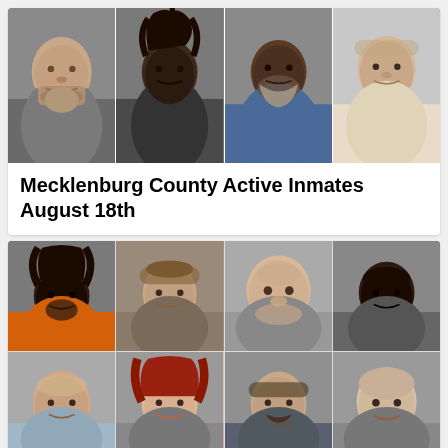[Figure (photo): Top row of four mugshot photos showing four individuals against a gray/white wall background]
Mecklenburg County Active Inmates August 18th
[Figure (photo): Grid of eight mugshot photos arranged in two rows of four, showing various individuals]